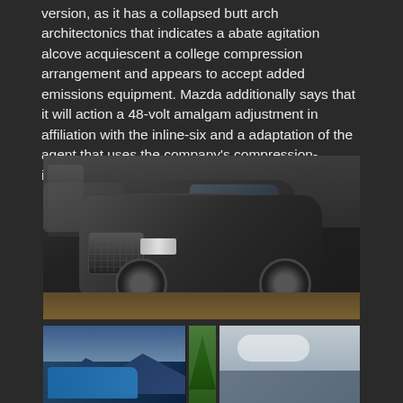version, as it has a collapsed butt arch architectonics that indicates a abate agitation alcove acquiescent a college compression arrangement and appears to accept added emissions equipment. Mazda additionally says that it will action a 48-volt amalgam adjustment in affiliation with the inline-six and a adaptation of the agent that uses the company's compression-ignition-capable Skyactiv-X technology.
[Figure (photo): A dark gray Mazda CX-5 SUV on display at what appears to be an auto show, photographed from a front three-quarter angle showing the grille, headlights, and hood. A person is visible in the background on the left.]
[Figure (photo): A three-panel composite photo showing Mazda vehicles in outdoor settings: left panel shows a blue SUV against mountains, center panel shows trees/nature, right panel shows a vehicle against a cloudy sky.]